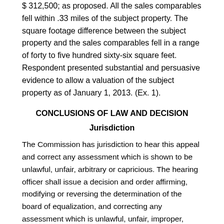$ 312,500; as proposed. All the sales comparables fell within .33 miles of the subject property. The square footage difference between the subject property and the sales comparables fell in a range of forty to five hundred sixty-six square feet. Respondent presented substantial and persuasive evidence to allow a valuation of the subject property as of January 1, 2013. (Ex. 1).
CONCLUSIONS OF LAW AND DECISION
Jurisdiction
The Commission has jurisdiction to hear this appeal and correct any assessment which is shown to be unlawful, unfair, arbitrary or capricious. The hearing officer shall issue a decision and order affirming, modifying or reversing the determination of the board of equalization, and correcting any assessment which is unlawful, unfair, improper, arbitrary, or capricious. Article X, Section 14, Mo. Const. of 1945; Sections 138.430, 138.431, 138.431.4, RSMo.
Basis of Assessment